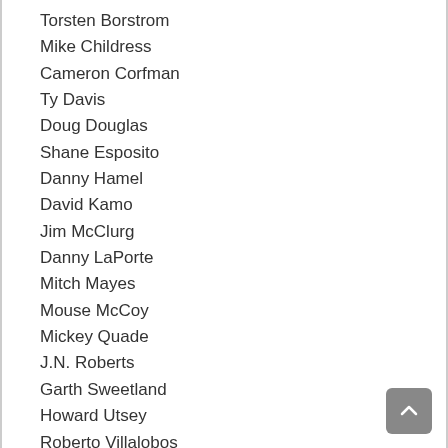Torsten Borstrom
Mike Childress
Cameron Corfman
Ty Davis
Doug Douglas
Shane Esposito
Danny Hamel
David Kamo
Jim McClurg
Danny LaPorte
Mitch Mayes
Mouse McCoy
Mickey Quade
J.N. Roberts
Garth Sweetland
Howard Utsey
Roberto Villalobos